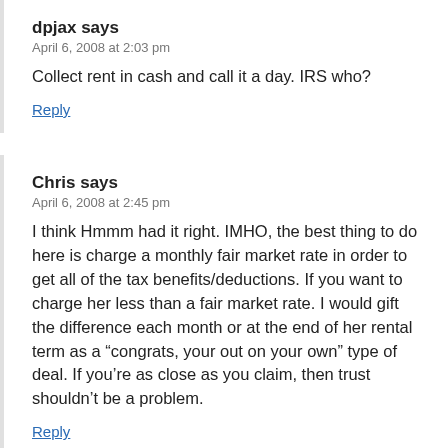dpjax says
April 6, 2008 at 2:03 pm
Collect rent in cash and call it a day. IRS who?
Reply
Chris says
April 6, 2008 at 2:45 pm
I think Hmmm had it right. IMHO, the best thing to do here is charge a monthly fair market rate in order to get all of the tax benefits/deductions. If you want to charge her less than a fair market rate. I would gift the difference each month or at the end of her rental term as a “congrats, your out on your own” type of deal. If you’re as close as you claim, then trust shouldn’t be a problem.
Reply